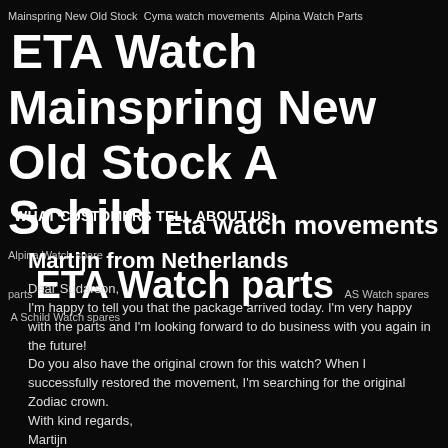Mainspring New Old Stock Cyma watch movements Alpina Watch Parts ETA Watch Mainspring New Old Stock A Schild Eta watch movements Alpina Watch spare parts ETA Watch parts AS Watch spares A Schild Watch spares
WHAT CUSTOMERS TELL ABOUT US:
Martijn from Netherlands
Dear Sudarson,
I'm happy to tell you that the package arrived today. I'm very happy with the parts and I'm looking forward to do business with you again in the future!
Do you also have the original crown for this watch? When I successfully restored the movement, I'm searching for the original Zodiac crown.
With kind regards,
Martijn